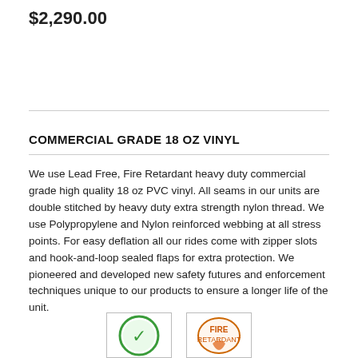$2,290.00
COMMERCIAL GRADE 18 OZ VINYL
We use Lead Free, Fire Retardant heavy duty commercial grade high quality 18 oz PVC vinyl. All seams in our units are double stitched by heavy duty extra strength nylon thread. We use Polypropylene and Nylon reinforced webbing at all stress points. For easy deflation all our rides come with zipper slots and hook-and-loop sealed flaps for extra protection. We pioneered and developed new safety futures and enforcement techniques unique to our products to ensure a longer life of the unit.
[Figure (logo): Green circular logo with checkmark/smiley symbol]
[Figure (logo): Orange/red fire retardant certification logo with flame symbol]